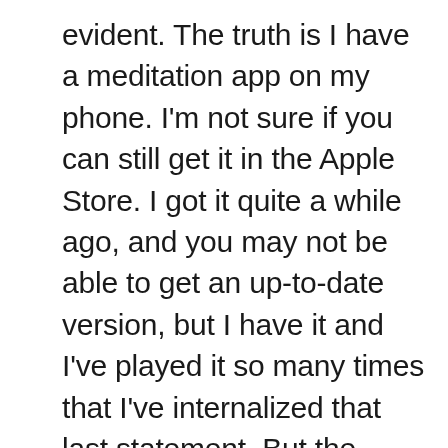evident. The truth is I have a meditation app on my phone. I'm not sure if you can still get it in the Apple Store. I got it quite a while ago, and you may not be able to get an up-to-date version, but I have it and I've played it so many times that I've internalized that last statement. But the more time goes by the more I start to really understand what she means by all this.

We're trained to believe we must focus on the obstacles and that is not true. Attention to the obstacles makes the